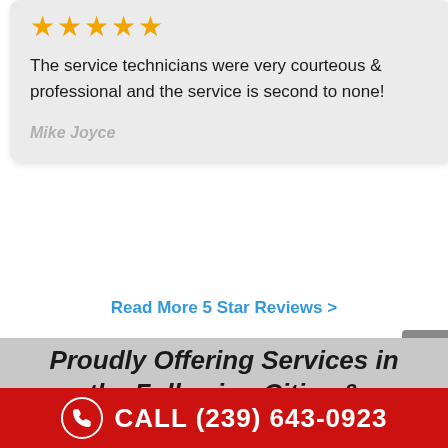[Figure (other): Five gold stars rating]
The service technicians were very courteous & professional and the service is second to none!
Mike Joyce
Read More 5 Star Reviews >
Proudly Offering Services in the Following Cities & Surrounding Areas
CALL (239) 643-0923